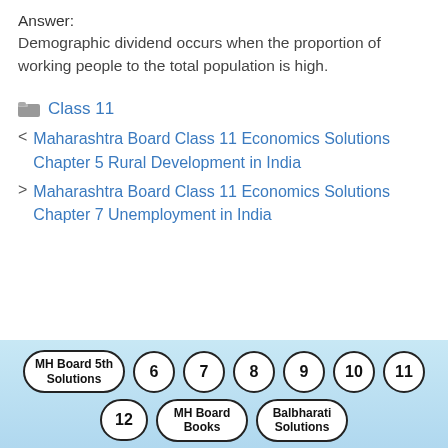Answer:
Demographic dividend occurs when the proportion of working people to the total population is high.
Class 11
< Maharashtra Board Class 11 Economics Solutions Chapter 5 Rural Development in India
> Maharashtra Board Class 11 Economics Solutions Chapter 7 Unemployment in India
MH Board 5th Solutions | 6 | 7 | 8 | 9 | 10 | 11 | 12 | MH Board Books | Balbharati Solutions